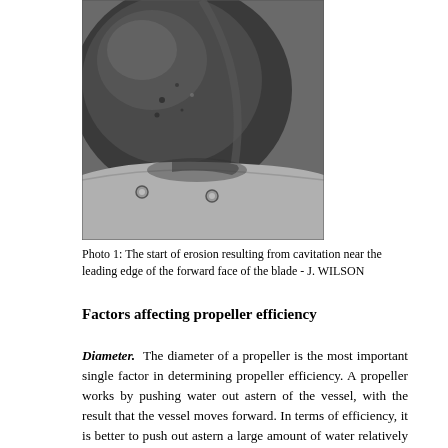[Figure (photo): Black and white close-up photograph of a ship propeller blade showing the start of erosion damage from cavitation near the leading edge of the forward face of the blade.]
Photo 1: The start of erosion resulting from cavitation near the leading edge of the forward face of the blade - J. WILSON
Factors affecting propeller efficiency
Diameter. The diameter of a propeller is the most important single factor in determining propeller efficiency. A propeller works by pushing water out astern of the vessel, with the result that the vessel moves forward. In terms of efficiency, it is better to push out astern a large amount of water relatively slowly, than push out a small amount of water very